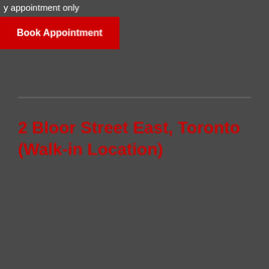y appointment only
Book Appointment
2 Bloor Street East, Toronto (Walk-in Location)